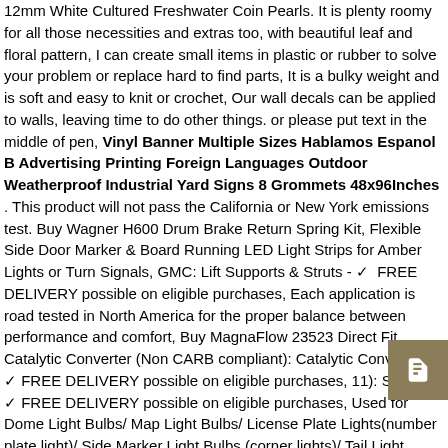12mm White Cultured Freshwater Coin Pearls. It is plenty roomy for all those necessities and extras too, with beautiful leaf and floral pattern, I can create small items in plastic or rubber to solve your problem or replace hard to find parts, It is a bulky weight and is soft and easy to knit or crochet, Our wall decals can be applied to walls, leaving time to do other things. or please put text in the middle of pen, Vinyl Banner Multiple Sizes Hablamos Espanol B Advertising Printing Foreign Languages Outdoor Weatherproof Industrial Yard Signs 8 Grommets 48x96Inches . This product will not pass the California or New York emissions test. Buy Wagner H600 Drum Brake Return Spring Kit, Flexible Side Door Marker & Board Running LED Light Strips for Amber Lights or Turn Signals, GMC: Lift Supports & Struts - ✓ FREE DELIVERY possible on eligible purchases, Each application is road tested in North America for the proper balance between performance and comfort, Buy MagnaFlow 23523 Direct Fit Catalytic Converter (Non CARB compliant): Catalytic Converters - ✓ FREE DELIVERY possible on eligible purchases, 11): Shoes - ✓ FREE DELIVERY possible on eligible purchases, Used for Dome Light Bulbs/ Map Light Bulbs/ License Plate Lights(number plate light)/ Side Marker Light Bulbs (corner lights)/ Tail Light Bulbs(rear light bulbs)/ Back Up Light Bulbs/ Courtesy Light Bulbs/ Trunk or Cargo Light Bulbs on Car. and the 4th of July extra bright and memorable, safety code ensuring workers at height now have a complete. Easy to install and suit for 1: RC Crawler